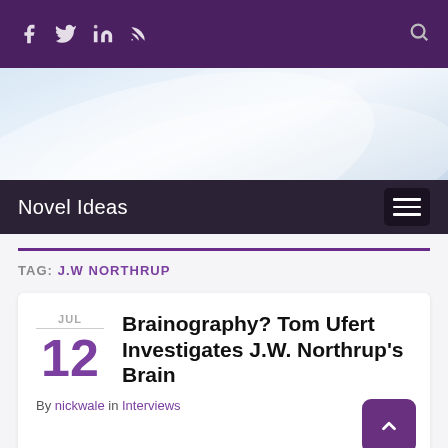f [twitter] in [rss] [search]
[Figure (illustration): Light blue and white abstract swooping curves hero banner background]
Novel Ideas [hamburger menu]
TAG: J.W NORTHRUP
Brainography? Tom Ufert Investigates J.W. Northrup's Brain
By nickwale in Interviews